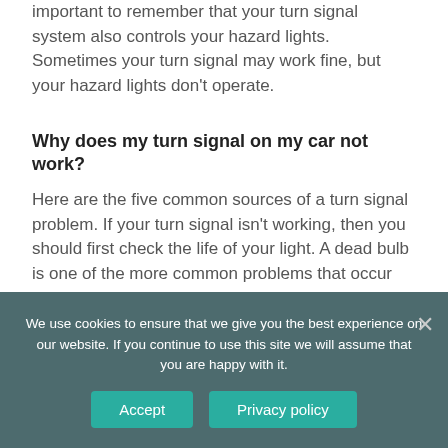important to remember that your turn signal system also controls your hazard lights. Sometimes your turn signal may work fine, but your hazard lights don't operate.
Why does my turn signal on my car not work?
Here are the five common sources of a turn signal problem. If your turn signal isn't working, then you should first check the life of your light. A dead bulb is one of the more common problems that occur with blinkers. Like any lightbulb, a turn signal will eventually burn out.
We use cookies to ensure that we give you the best experience on our website. If you continue to use this site we will assume that you are happy with it.